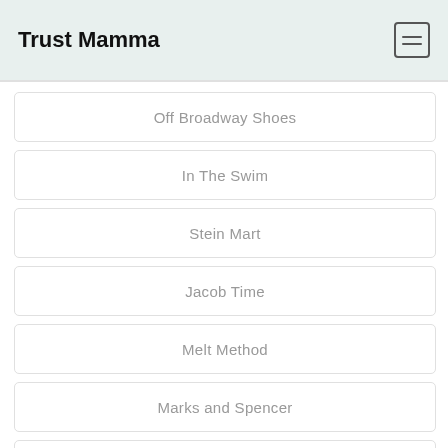Trust Mamma
Off Broadway Shoes
In The Swim
Stein Mart
Jacob Time
Melt Method
Marks and Spencer
Invite Health
VANMOOF